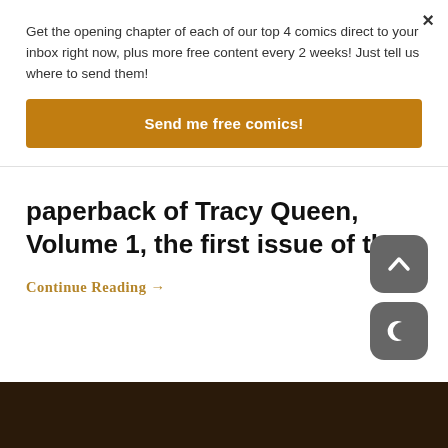Get the opening chapter of each of our top 4 comics direct to your inbox right now, plus more free content every 2 weeks! Just tell us where to send them!
Send me free comics!
paperback of Tracy Queen, Volume 1, the first issue of the
Continue Reading →
[Figure (screenshot): Dark bottom image strip showing bottom of a web page with a partially visible image]
[Figure (infographic): Scroll-to-top button (grey rounded square with upward chevron arrow)]
[Figure (infographic): Night mode toggle button (grey rounded square with crescent moon icon)]